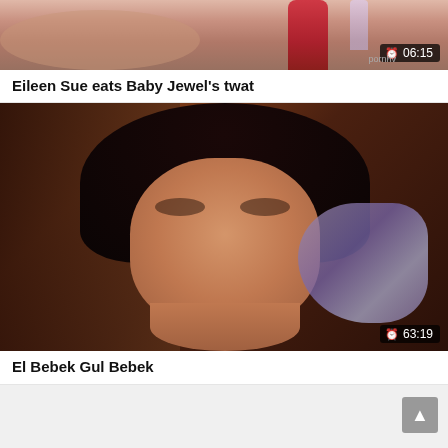[Figure (screenshot): Partial video thumbnail showing close-up of hands with red nails and a microphone, with duration badge showing 06:15]
Eileen Sue eats Baby Jewel's twat
[Figure (photo): Video thumbnail showing a dark-haired woman with an intense expression looking at camera, wearing a scarf, with duration badge showing 63:19]
El Bebek Gul Bebek